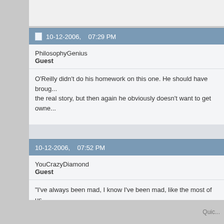10-12-2006, 07:29 PM
PhilosophyGenius
Guest
O'Reilly didn't do his homework on this one. He should have brought up the real story, but then again he obviously doesn't want to get owne...
10-12-2006, 07:52 PM
YouCrazyDiamond
Guest
"I've always been mad, I know I've been mad, like the most of us... very hard to explain why you're mad, even if you're not mad..."
Quic...